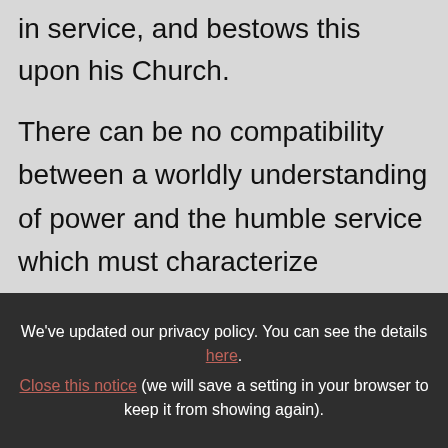in service, and bestows this upon his Church.

There can be no compatibility between a worldly understanding of power and the humble service which must characterize authority according to Jesus' teaching and example. Ambition and careerism are incompatible with Christian discipleship; honour, success, fame and worldly triumphs are incompatible with the logic of Christ crucified. Instead, compatibility exists between
We've updated our privacy policy. You can see the details here. Close this notice (we will save a setting in your browser to keep it from showing again).